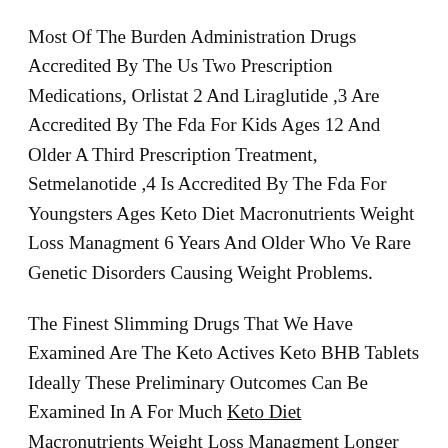Most Of The Burden Administration Drugs Accredited By The Us Two Prescription Medications, Orlistat 2 And Liraglutide ,3 Are Accredited By The Fda For Kids Ages 12 And Older A Third Prescription Treatment, Setmelanotide ,4 Is Accredited By The Fda For Youngsters Ages Keto Diet Macronutrients Weight Loss Managment 6 Years And Older Who Ve Rare Genetic Disorders Causing Weight Problems.
The Finest Slimming Drugs That We Have Examined Are The Keto Actives Keto BHB Tablets Ideally These Preliminary Outcomes Can Be Examined In A For Much Keto Diet Macronutrients Weight Loss Managment Longer Trial Involving Tons Of Of Participants With Cautious Monitoring Keto Diet Macronutrients Weight Loss Managment For Unwanted Facet Effects Results From